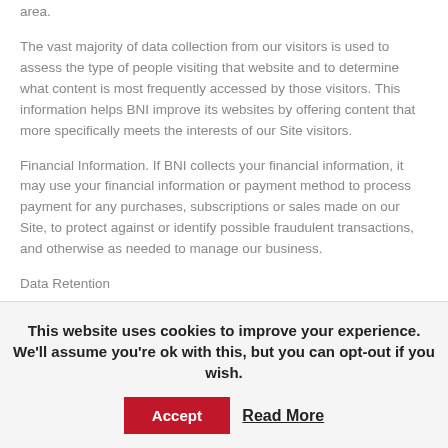area.
The vast majority of data collection from our visitors is used to assess the type of people visiting that website and to determine what content is most frequently accessed by those visitors. This information helps BNI improve its websites by offering content that more specifically meets the interests of our Site visitors.
Financial Information. If BNI collects your financial information, it may use your financial information or payment method to process payment for any purchases, subscriptions or sales made on our Site, to protect against or identify possible fraudulent transactions, and otherwise as needed to manage our business.
Data Retention
Your data will only be retained for as long as necessary to fulfil the purposes for which it was obtained. For members of BNI, at a minimum this will be for the duration of your membership and
This website uses cookies to improve your experience. We'll assume you're ok with this, but you can opt-out if you wish.
Accept
Read More